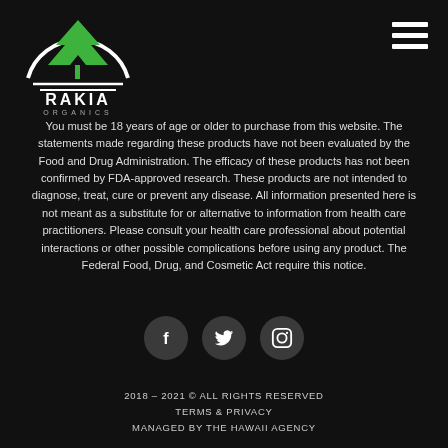[Figure (logo): Rakia Organics logo — white semicircle with a green tree inside, horizontal lines below, text RAKIA ORGANICS underneath]
You must be 18 years of age or older to purchase from this website. The statements made regarding these products have not been evaluated by the Food and Drug Administration. The efficacy of these products has not been confirmed by FDA-approved research. These products are not intended to diagnose, treat, cure or prevent any disease. All information presented here is not meant as a substitute for or alternative to information from health care practitioners. Please consult your health care professional about potential interactions or other possible complications before using any product. The Federal Food, Drug, and Cosmetic Act require this notice.
[Figure (illustration): Three dark circular social media icons: Facebook (f), Twitter (bird), Instagram (camera)]
2018 – 2021 © ALL RIGHTS RESERVED
TERMS & PRIVACY
MANAGED BY THE HAWAII AGENCY